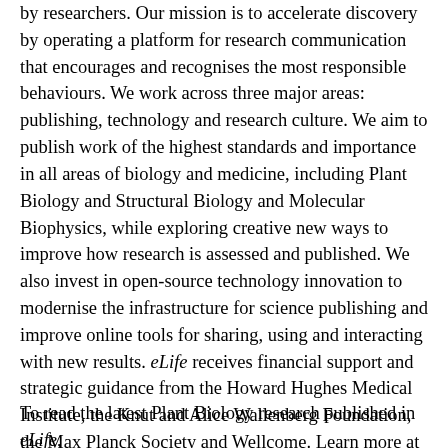by researchers. Our mission is to accelerate discovery by operating a platform for research communication that encourages and recognises the most responsible behaviours. We work across three major areas: publishing, technology and research culture. We aim to publish work of the highest standards and importance in all areas of biology and medicine, including Plant Biology and Structural Biology and Molecular Biophysics, while exploring creative new ways to improve how research is assessed and published. We also invest in open-source technology innovation to modernise the infrastructure for science publishing and improve online tools for sharing, using and interacting with new results. eLife receives financial support and strategic guidance from the Howard Hughes Medical Institute, the Knut and Alice Wallenberg Foundation, the Max Planck Society and Wellcome. Learn more at https://elifesciences.org/about.
To read the latest Plant Biology research published in eLife,